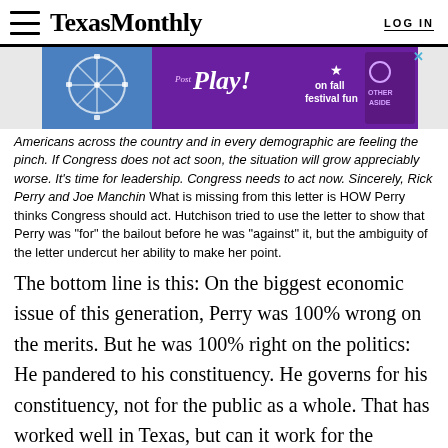TexasMonthly  LOG IN
[Figure (other): Advertisement banner with purple background showing 'Post Play! on fall festival fun' with a Ferris wheel image and Texas Other Side branding]
Americans across the country and in every demographic are feeling the pinch. If Congress does not act soon, the situation will grow appreciably worse. It's time for leadership. Congress needs to act now. Sincerely, Rick Perry and Joe Manchin What is missing from this letter is HOW Perry thinks Congress should act. Hutchison tried to use the letter to show that Perry was "for" the bailout before he was "against" it, but the ambiguity of the letter undercut her ability to make her point.
The bottom line is this: On the biggest economic issue of this generation, Perry was 100% wrong on the merits. But he was 100% right on the politics: He pandered to his constituency. He governs for his constituency, not for the public as a whole. That has worked well in Texas, but can it work for the